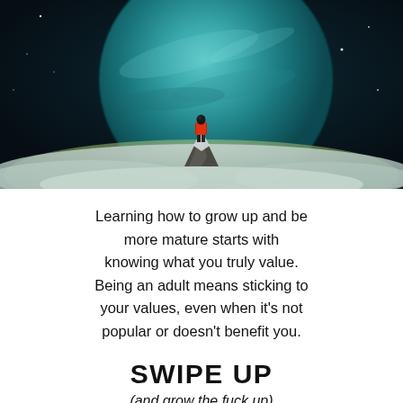[Figure (illustration): Digital art illustration of a person in a red jacket standing on a rocky peak, facing away from viewer, with a massive teal/green planet filling the dark starry sky behind them. Misty clouds surround the base of the peak.]
Learning how to grow up and be more mature starts with knowing what you truly value. Being an adult means sticking to your values, even when it's not popular or doesn't benefit you.
SWIPE UP
(and grow the fuck up)